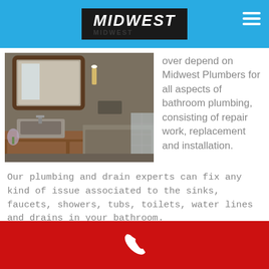MIDWEST
[Figure (photo): Interior bathroom photo showing a stone sink on a wooden vanity, large wall mirror, and a walk-in bathtub area with concrete/stone walls.]
over depend on Midwest Plumbers for all aspects of bathroom plumbing, consisting of repair work, replacement and installation.
Our plumbing and drain experts can fix any kind of issue associated to the sinks, faucets, showers, tubs, toilets, water lines and drains in your bathroom.
Showers and tubs
Phone icon